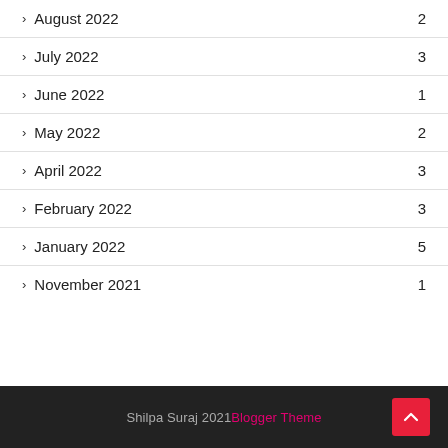August 2022  2
July 2022  3
June 2022  1
May 2022  2
April 2022  3
February 2022  3
January 2022  5
November 2021  1
Shilpa Suraj 2021 Blogger Theme